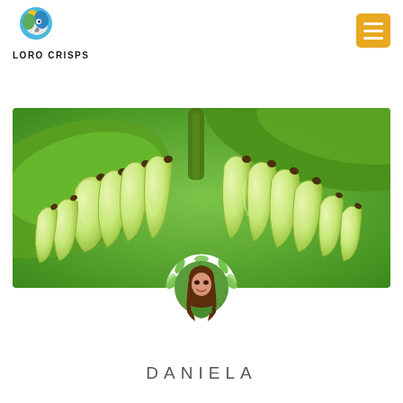LORO CRISPS
[Figure (photo): Close-up of green unripe bananas on a banana plant against a bright green leafy background]
[Figure (photo): Circular profile photo of Daniela, a woman with long brown hair wearing green, surrounded by a white circle with green leaf illustrations and the name DANIELA written in a small arc at the bottom]
DANIELA